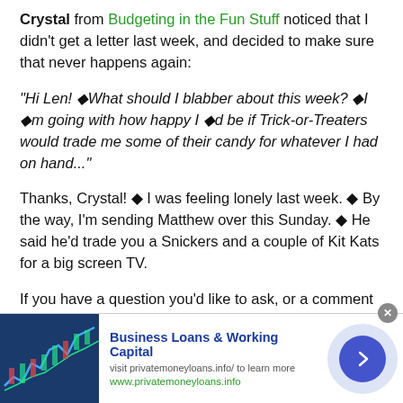Crystal from Budgeting in the Fun Stuff noticed that I didn't get a letter last week, and decided to make sure that never happens again:
“Hi Len! � What should I blabber about this week? � I �m going with how happy I �d be if Trick-or-Treaters would trade me some of their candy for whatever I had on hand...”
Thanks, Crystal! � I was feeling lonely last week. � By the way, I’m sending Matthew over this Sunday. � He said he’d trade you a Snickers and a couple of Kit Kats for a big screen TV.
If you have a question you’d like to ask, or a comment you’d like to make regarding some of my irritating opinions
[Figure (infographic): Advertisement banner: Business Loans & Working Capital. Visit privatemoneyloans.info/ to learn more. www.privatemoneyloans.info. Shows financial chart image on left, blue arrow button on right.]